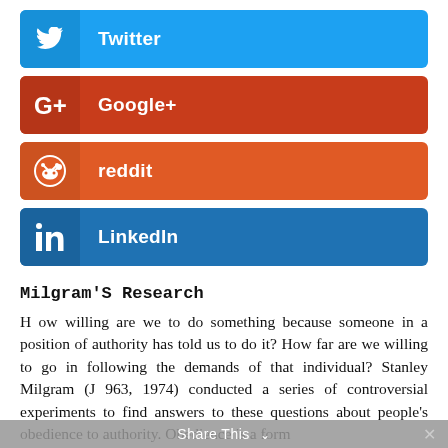[Figure (other): Twitter social share button (blue)]
[Figure (other): Google+ social share button (red)]
[Figure (other): Reddit social share button (orange-red)]
[Figure (other): LinkedIn social share button (dark blue)]
Milgram'S Research
H ow willing are we to do something because someone in a position of authority has told us to do it? How far are we willing to go in following the demands of that individual? Stanley Milgram (J 963, 1974) conducted a series of controversial experiments to find answers to these questions about people's obedience to authority. Obedience is a form